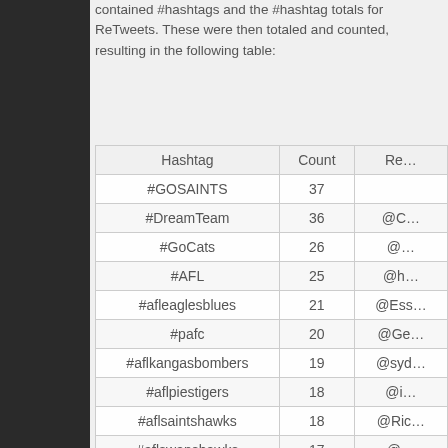contained #hashtags and the #hashtag totals for ReTweets. These were then totaled and counted, resulting in the following table:
| Hashtag | Count | Re… |
| --- | --- | --- |
| #GOSAINTS | 37 |  |
| #DreamTeam | 36 | @C… |
| #GoCats | 26 | @… |
| #AFL | 25 | @h… |
| #afleaglesblues | 21 | @Ess… |
| #pafc | 20 | @Ge… |
| #aflkangasbombers | 19 | @syd… |
| #aflpiestigers | 18 | @i… |
| #aflsaintshawks | 18 | @Ric… |
| #aflswanshawks | 17 | @… |
| #ausvotes | 12 | @Ac… |